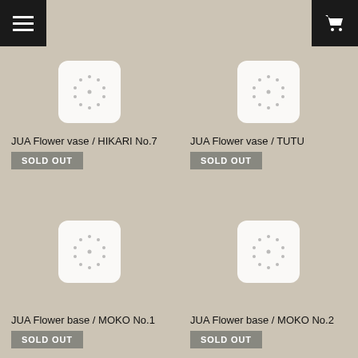Navigation header with menu and cart buttons
[Figure (screenshot): Product image placeholder with dots pattern for JUA Flower vase / HIKARI No.7]
JUA Flower vase / HIKARI No.7
SOLD OUT
[Figure (screenshot): Product image placeholder with dots pattern for JUA Flower vase / TUTU]
JUA Flower vase / TUTU
SOLD OUT
[Figure (screenshot): Product image placeholder with dots pattern for JUA Flower base / MOKO No.1]
JUA Flower base / MOKO No.1
SOLD OUT
[Figure (screenshot): Product image placeholder with dots pattern for JUA Flower base / MOKO No.2]
JUA Flower base / MOKO No.2
SOLD OUT